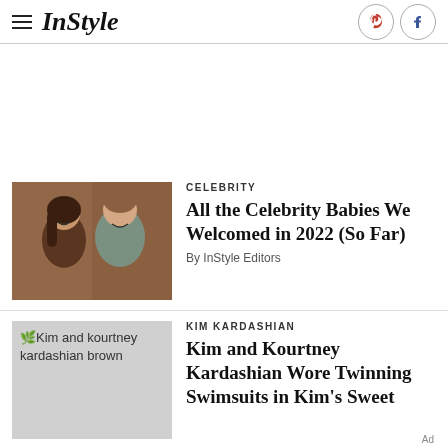InStyle
[Figure (photo): Photo of a woman and a man smiling together at an event]
CELEBRITY
All the Celebrity Babies We Welcomed in 2022 (So Far)
By InStyle Editors
[Figure (photo): Placeholder image with text: Kim and kourtney kardashian brown]
KIM KARDASHIAN
Kim and Kourtney Kardashian Wore Twinning Swimsuits in Kim's Sweet